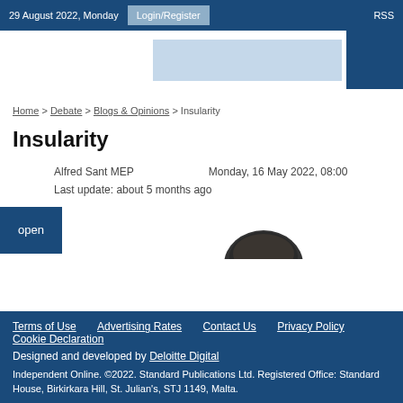29 August 2022, Monday   Login/Register   RSS
[Figure (other): Banner/advertisement area with light blue rectangle and dark blue square block]
Home > Debate > Blogs & Opinions > Insularity
Insularity
Alfred Sant MEP   Monday, 16 May 2022, 08:00
Last update: about 5 months ago
open
[Figure (photo): Top of a person's head with dark hair]
Terms of Use   Advertising Rates   Contact Us   Privacy Policy   Cookie Declaration
Designed and developed by Deloitte Digital
Independent Online. ©2022. Standard Publications Ltd. Registered Office: Standard House, Birkirkara Hill, St. Julian's, STJ 1149, Malta.